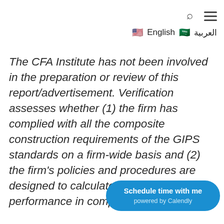🔍 ≡ 🇺🇸 English 🇸🇦 العربية
The CFA Institute has not been involved in the preparation or review of this report/advertisement. Verification assesses whether (1) the firm has complied with all the composite construction requirements of the GIPS standards on a firm-wide basis and (2) the firm's policies and procedures are designed to calculate and present performance in compliance with th standards. Verification does not